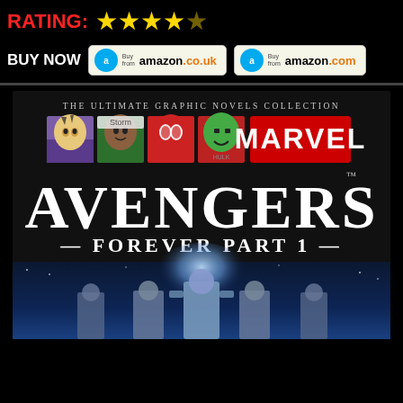RATING: ★★★★☆
BUY NOW | Buy from amazon.co.uk | Buy from amazon.com
[Figure (illustration): Book cover for 'Avengers Forever Part 1' from The Ultimate Graphic Novels Collection by Marvel. Features Marvel character icons (Wolverine, Storm, Spider-Man, Hulk), Marvel logo, large 'AVENGERS' title, subtitle 'FOREVER PART 1', and a bottom scene with armored figures in blue cosmic setting.]